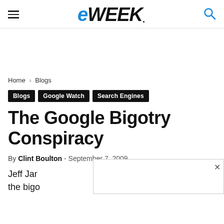eWEEK
Home › Blogs
Blogs
Google Watch
Search Engines
The Google Bigotry Conspiracy
By Clint Boulton - September 7, 2009
Jeff Jar… s with the bigo…